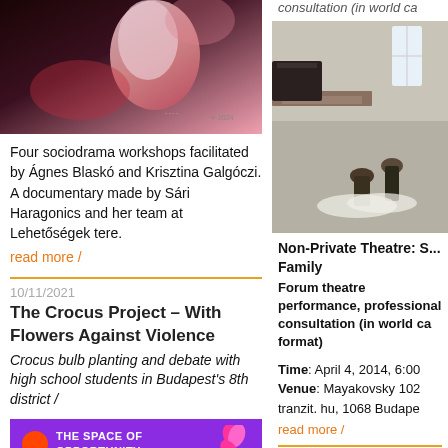[Figure (photo): Abstract artistic photo with pink/red gradient tones showing a face silhouette]
Four sociodrama workshops facilitated by Ágnes Blaskó and Krisztina Galgóczi. A documentary made by Sári Haragonics and her team at Lehetőségek tere.
read more /
10/11/2021
The Crocus Project – With Flowers Against Violence
Crocus bulb planting and debate with high school students in Budapest's 8th district /
[Figure (photo): Purple poster for The Crocus Project – With Flowers Against Violence event]
consultation (in world ca
[Figure (photo): Photo of people in a room with tables, rehearsal or workshop scene]
Non-Private Theatre: S... Family
Forum theatre performance, professional consultation (in world ca format)
Time: April 4, 2014, 6:00
Venue: Mayakovsky 102
tranzit. hu, 1068 Budape
read more /
27/03/2014